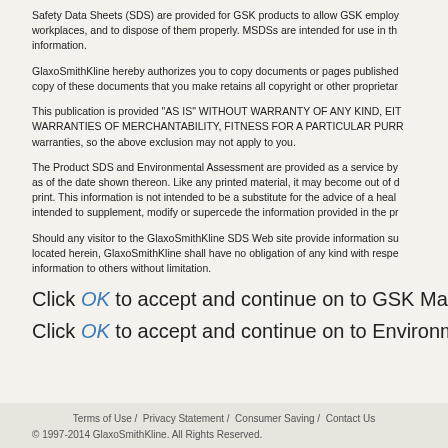Safety Data Sheets (SDS) are provided for GSK products to allow GSK employees to work safely with them in their workplaces, and to dispose of them properly. MSDSs are intended for use in the workplace and contain technical information.
GlaxoSmithKline hereby authorizes you to copy documents or pages published on this Web site for non-commercial use only, provided any copy of these documents that you make retains all copyright or other proprietary notices and any disclaimer contained therein.
This publication is provided "AS IS" WITHOUT WARRANTY OF ANY KIND, EITHER EXPRESSED OR IMPLIED, INCLUDING, BUT NOT LIMITED TO THE IMPLIED WARRANTIES OF MERCHANTABILITY, FITNESS FOR A PARTICULAR PURPOSE, OR NON-INFRINGEMENT. Some jurisdictions do not allow the exclusion of implied warranties, so the above exclusion may not apply to you.
The Product SDS and Environmental Assessment are provided as a service by GlaxoSmithKline, and reflect the composition of the product as of the date shown thereon. Like any printed material, it may become out of date. You should contact GlaxoSmithKline before relying on its print. This information is not intended to be a substitute for the advice of a health care provider and should not be solely relied on for that purpose. It is not intended to supplement, modify or supercede the information provided in the product labeling or package insert.
Should any visitor to the GlaxoSmithKline SDS Web site provide information such as feedback, data, answers, questions, comments, suggestions, plans, or similar information located herein, GlaxoSmithKline shall have no obligation of any kind with respect to such information and shall be free to reproduce, use, disclose and distribute the information to others without limitation.
Click OK to accept and continue on to GSK Material Safety Data Sheets.
Click OK to accept and continue on to Environmental Assessment.
Terms of Use / Privacy Statement / Consumer Saving / Contact Us
© 1997-2014 GlaxoSmithKline. All Rights Reserved.